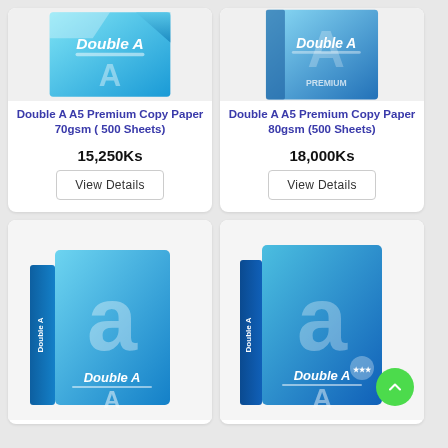[Figure (photo): Double A A5 Premium Copy Paper 70gsm product box, blue and white packaging with Double A logo]
Double A A5 Premium Copy Paper 70gsm ( 500 Sheets)
15,250Ks
View Details
[Figure (photo): Double A A5 Premium Copy Paper 80gsm product box, blue and white packaging with Double A logo]
Double A A5 Premium Copy Paper 80gsm (500 Sheets)
18,000Ks
View Details
[Figure (photo): Double A paper ream box, blue packaging with large 'a' letter and Double A logo]
[Figure (photo): Double A paper ream box, blue packaging with large 'a' letter and Double A logo, slightly different variant]